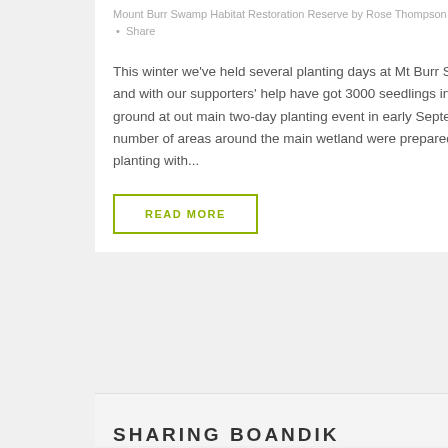Mount Burr Swamp Habitat Restoration Reserve by Rose Thompson • 0 Likes • Share
This winter we've held several planting days at Mt Burr Swamp and with our supporters' help have got 3000 seedlings in the ground at out main two-day planting event in early September. A number of areas around the main wetland were prepared for planting with...
READ MORE
SHARING BOANDIK